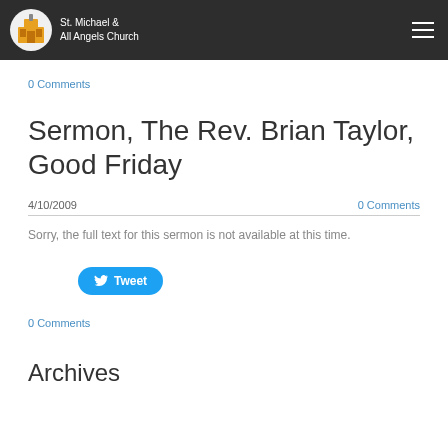St. Michael & All Angels Church
0 Comments
Sermon, The Rev. Brian Taylor, Good Friday
4/10/2009
0 Comments
Sorry, the full text for this sermon is not available at this time.
Tweet
0 Comments
Archives